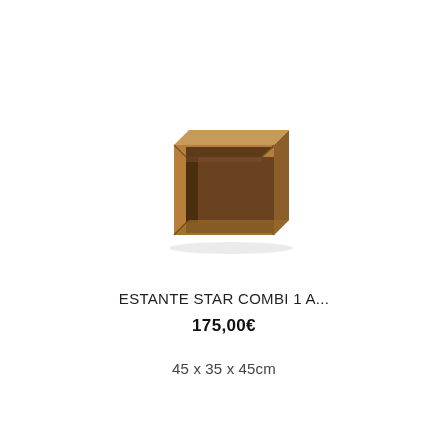[Figure (photo): A small wooden open cube shelf unit (ESTANTE STAR COMBI 1 A...) in warm brown wood finish, photographed on white background. The cube has an open front revealing a hollow interior with darker brown inside surfaces.]
ESTANTE STAR COMBI 1 A...
175,00€
45 x 35 x 45cm